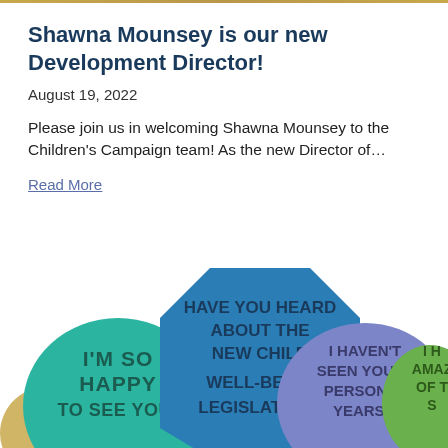Shawna Mounsey is our new Development Director!
August 19, 2022
Please join us in welcoming Shawna Mounsey to the Children's Campaign team! As the new Director of…
Read More
[Figure (illustration): Colorful speech bubbles with text: 'I'M SO HAPPY TO SEE YOU!', 'HAVE YOU HEARD ABOUT THE NEW CHILD WELL-BEING LEGISLATION?', 'I HAVEN'T SEEN YOU IN PERSON IN YEARS...', and a partially visible fourth bubble.]